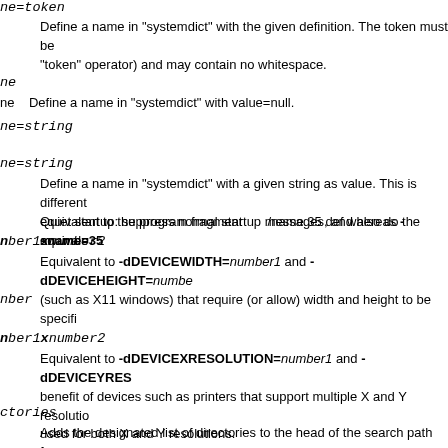ne=token
Define a name in "systemdict" with the given definition. The token must be "token" operator) and may contain no whitespace.
ne
ne   Define a name in "systemdict" with value=null.
ne=string
ne=string
Define a name in "systemdict" with a given string as value. This is different equivalent to the program fragment      /name 35 def whereas -sname=35
Quiet startup: suppress normal startup messages, and also do the equivale
nber1xnumber2
Equivalent to -dDEVICEWIDTH=number1 and -dDEVICEHEIGHT=number (such as X11 windows) that require (or allow) width and height to be specifi
nber
nber1xnumber2
Equivalent to -dDEVICEXRESOLUTION=number1 and -dDEVICEYRES benefit of devices such as printers that support multiple X and Y resolutio used for both X and Y resolutions.
ctories
Adds the designated list of directories to the head of the search path for